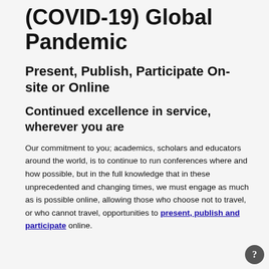(COVID-19) Global Pandemic
Present, Publish, Participate On-site or Online
Continued excellence in service, wherever you are
Our commitment to you; academics, scholars and educators around the world, is to continue to run conferences where and how possible, but in the full knowledge that in these unprecedented and changing times, we must engage as much as is possible online, allowing those who choose not to travel, or who cannot travel, opportunities to present, publish and participate online.